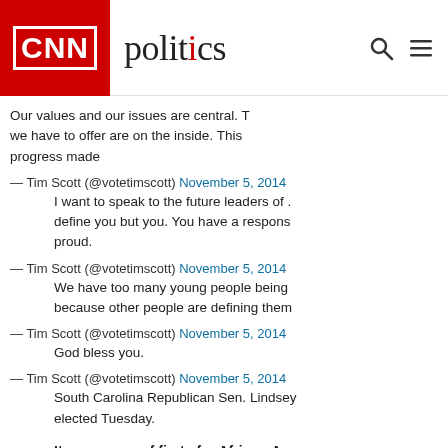CNN politics
Our values and our issues are central. The best of what we have to offer are on the inside. This progress made
— Tim Scott (@votetimscott) November 5, 2014
I want to speak to the future leaders of ... define you but you. You have a respons... proud.
— Tim Scott (@votetimscott) November 5, 2014
We have too many young people being... because other people are defining them...
— Tim Scott (@votetimscott) November 5, 2014
God bless you.
— Tim Scott (@votetimscott) November 5, 2014
South Carolina Republican Sen. Lindsey... elected Tuesday.
It was a year of firsts for African-Amer...